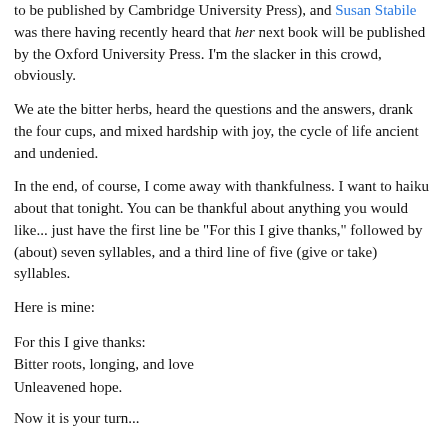to be published by Cambridge University Press), and Susan Stabile was there having recently heard that her next book will be published by the Oxford University Press. I'm the slacker in this crowd, obviously.
We ate the bitter herbs, heard the questions and the answers, drank the four cups, and mixed hardship with joy, the cycle of life ancient and undenied.
In the end, of course, I come away with thankfulness. I want to haiku about that tonight. You can be thankful about anything you would like... just have the first line be "For this I give thanks," followed by (about) seven syllables, and a third line of five (give or take) syllables.
Here is mine:
For this I give thanks:
Bitter roots, longing, and love
Unleavened hope.
Now it is your turn...